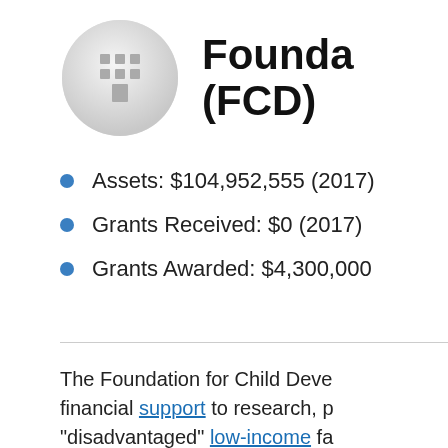[Figure (logo): Gray circle with building/grid icon representing an organization logo]
Founda (FCD)
Assets: $104,952,555 (2017)
Grants Received: $0 (2017)
Grants Awarded: $4,300,000
The Foundation for Child Deve financial support to research, p "disadvantaged" low-income fa